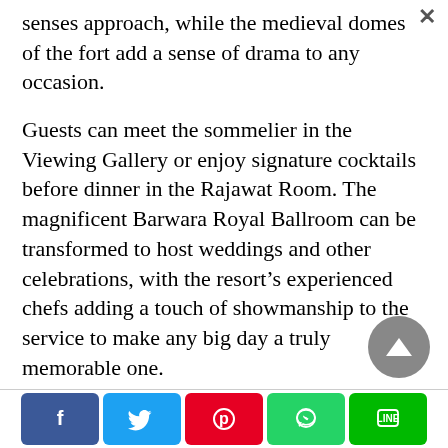senses approach, while the medieval domes of the fort add a sense of drama to any occasion.
Guests can meet the sommelier in the Viewing Gallery or enjoy signature cocktails before dinner in the Rajawat Room. The magnificent Barwara Royal Ballroom can be transformed to host weddings and other celebrations, with the resort’s experienced chefs adding a touch of showmanship to the service to make any big day a truly memorable one.
Social share bar: Facebook, Twitter, Pinterest, WhatsApp, LINE